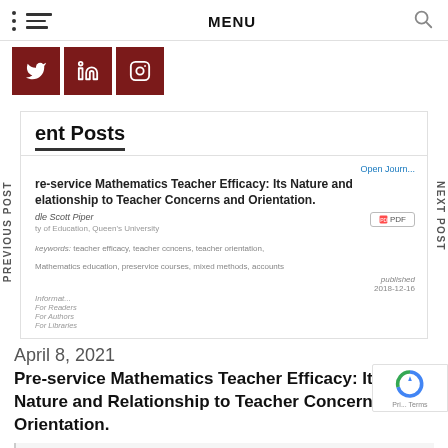MENU
[Figure (screenshot): Social media icons: Twitter, LinkedIn, Instagram on dark red/maroon backgrounds]
Recent Posts
[Figure (screenshot): Preview card of article: Pre-service Mathematics Teacher Efficacy: Its Nature and Relationship to Teacher Concerns and Orientation. Open Journal label, PDF button, author info, keywords, published date 2018-12-16]
PREVIOUS POST
NEXT POST
April 8, 2021
Pre-service Mathematics Teacher Efficacy: Its Nature and Relationship to Teacher Concerns and Orientation.
Problem-Based Learning as a professional learning model helped me with the sudden demand of remote learning.